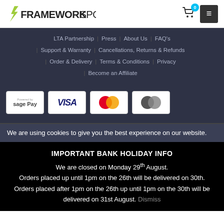[Figure (logo): Framework Sports logo with lightning bolt F icon and bold text FRAMEWORKSPORTS]
LTA Partnership | Press | About Us | FAQ's | Support & Warranty | Cancellations, Returns & Refunds | Order & Delivery | Terms & Conditions | Privacy | Become an Affiliate
[Figure (other): Payment icons: Sage Pay, VISA, Mastercard (two variants)]
We are using cookies to give you the best experience on our website.
IMPORTANT BANK HOLIDAY INFO
We are closed on Monday 29th August. Orders placed up until 1pm on the 26th will be delivered on 30th. Orders placed after 1pm on the 26th up until 1pm on the 30th will be delivered on 31st August. Dismiss